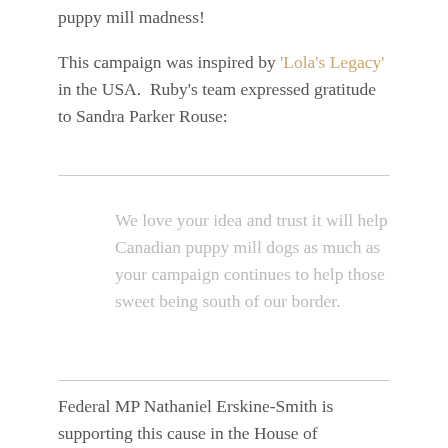puppy mill madness!
This campaign was inspired by 'Lola's Legacy' in the USA.  Ruby's team expressed gratitude to Sandra Parker Rouse:
We love your idea and trust it will help Canadian puppy mill dogs as much as your campaign continues to help those sweet being south of our border.
Federal MP Nathaniel Erskine-Smith is supporting this cause in the House of Commons and will be introducing legislation to bring animal welfare into the 21st Century and HE NEEDS OUR SUPPORT! Click